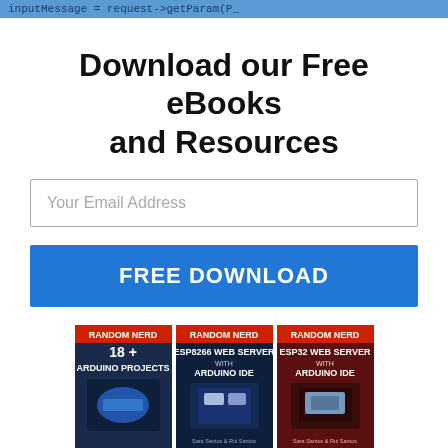inputMessage = request->getParam(P_
Download our Free eBooks and Resources
Your Email Address
FREE DOWNLOAD
[Figure (illustration): Collection of five eBook and mini course covers: 18+ Arduino Projects, ESP8266 Web Server with Arduino IDE, ESP32 Web Server with Arduino IDE, Ultimate Guide for Arduino Sensor Modules, Arduino Mini Course]